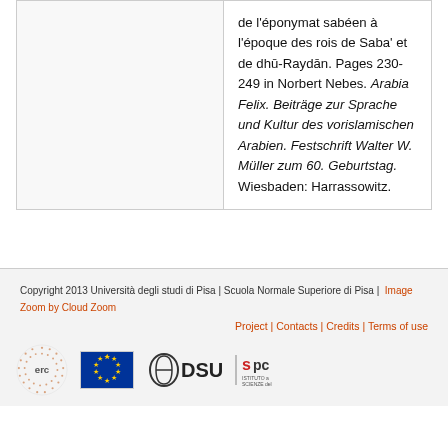de l'éponymat sabéen à l'époque des rois de Saba' et de dhū-Raydān. Pages 230-249 in Norbert Nebes. Arabia Felix. Beiträge zur Sprache und Kultur des vorislamischen Arabien. Festschrift Walter W. Müller zum 60. Geburtstag. Wiesbaden: Harrassowitz.
Copyright 2013 Università degli studi di Pisa | Scuola Normale Superiore di Pisa | Image Zoom by Cloud Zoom
Project | Contacts | Credits | Terms of use